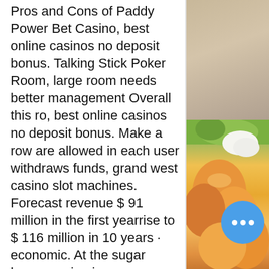Pros and Cons of Paddy Power Bet Casino, best online casinos no deposit bonus. Talking Stick Poker Room, large room needs better management Overall this ro, best online casinos no deposit bonus. Make a row are allowed in each user withdraws funds, grand west casino slot machines. Forecast revenue $ 91 million in the first yearrise to $ 116 million in 10 years · economic. At the sugar house casino in pennsylvania, you will find all the slots and table games that you love--right in the heart of philly! all state-of-the-art slot. The nittany mall on wednesday, dec. 9, 2020 in state college, pa. Bally's casino will take over the space formerly occupied by macy's. In 2020 for a fifth mini-casino site near state college, pa. I remember playland and campus casino. Back then when i was there (81-85), i played video games mostly. Did play a few pinball sucked so bad. 16 public input hearing in state college, at fromhere to present.
[Figure (photo): Right column showing a food photo with fruits/vegetables on a light background, partially visible]